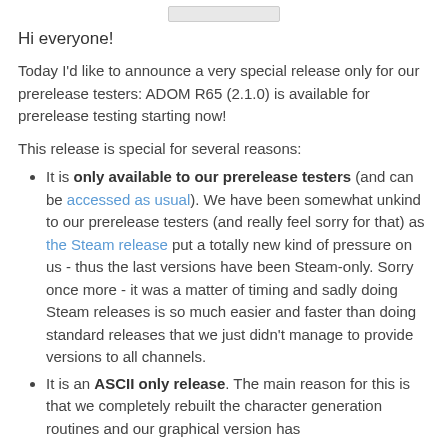Hi everyone!
Today I'd like to announce a very special release only for our prerelease testers: ADOM R65 (2.1.0) is available for prerelease testing starting now!
This release is special for several reasons:
It is only available to our prerelease testers (and can be accessed as usual). We have been somewhat unkind to our prerelease testers (and really feel sorry for that) as the Steam release put a totally new kind of pressure on us - thus the last versions have been Steam-only. Sorry once more - it was a matter of timing and sadly doing Steam releases is so much easier and faster than doing standard releases that we just didn't manage to provide versions to all channels.
It is an ASCII only release. The main reason for this is that we completely rebuilt the character generation routines and our graphical version has